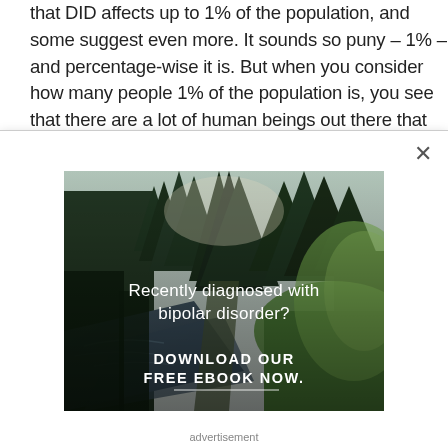that DID affects up to 1% of the population, and some suggest even more. It sounds so puny – 1% – and percentage-wise it is. But when you consider how many people 1% of the population is, you see that there are a lot of human beings out there that share your struggle.
[Figure (photo): Advertisement image of a forest with a river, overlaid with white text reading 'Recently diagnosed with bipolar disorder? DOWNLOAD OUR FREE EBOOK NOW.' with a horizontal underline beneath the ebook text.]
advertisement